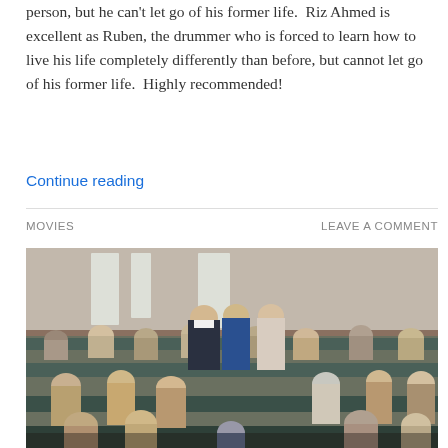person, but he can't let go of his former life.  Riz Ahmed is excellent as Ruben, the drummer who is forced to learn how to live his life completely differently than before, but cannot let go of his former life.  Highly recommended!
Continue reading
MOVIES
LEAVE A COMMENT
[Figure (photo): A movie still showing a group of people sitting in church pews. In the center stand two people in formal attire (a man in a dark suit and a woman in a blue dress), with another woman in a light outfit beside them. The congregation around them appears to be reacting or listening. The setting is a simple church interior with tall windows in the background.]